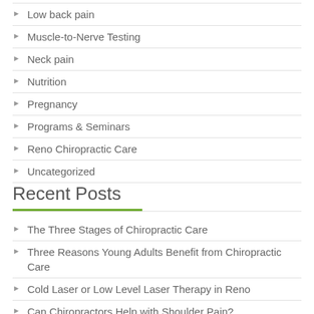Low back pain
Muscle-to-Nerve Testing
Neck pain
Nutrition
Pregnancy
Programs & Seminars
Reno Chiropractic Care
Uncategorized
Recent Posts
The Three Stages of Chiropractic Care
Three Reasons Young Adults Benefit from Chiropractic Care
Cold Laser or Low Level Laser Therapy in Reno
Can Chiropractors Help with Shoulder Pain?
Three Benefits of Getting Adjusted